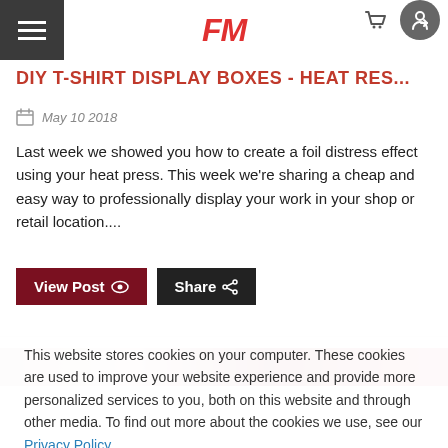FM
DIY T-SHIRT DISPLAY BOXES - HEAT RES...
May 10 2018
Last week we showed you how to create a foil distress effect using your heat press. This week we're sharing a cheap and easy way to professionally display your work in your shop or retail location....
View Post | Share
[Figure (photo): Partial image of shirt display or related craft item, cropped at bottom of page]
This website stores cookies on your computer. These cookies are used to improve your website experience and provide more personalized services to you, both on this website and through other media. To find out more about the cookies we use, see our Privacy Policy.
Accept | Decline